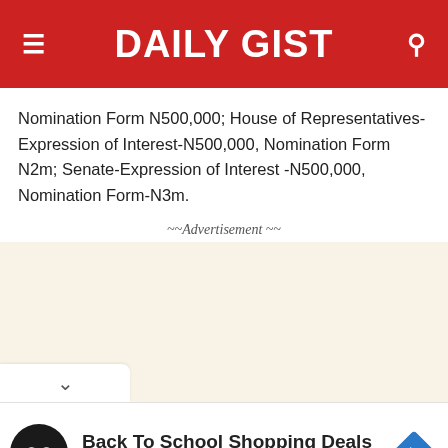DAILY GIST
Nomination Form N500,000; House of Representatives-Expression of Interest-N500,000, Nomination Form N2m; Senate-Expression of Interest -N500,000, Nomination Form-N3m.
~~Advertisement ~~
[Figure (other): Advertisement placeholder area with beige/cream background]
[Figure (other): Bottom ad banner: Back To School Shopping Deals at Leesburg Premium Outlets with circular black logo and blue navigation arrow icon]